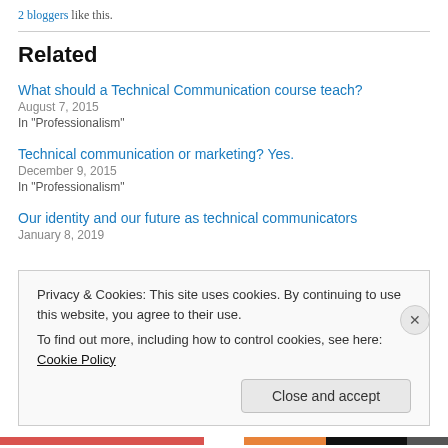2 bloggers like this.
Related
What should a Technical Communication course teach?
August 7, 2015
In "Professionalism"
Technical communication or marketing? Yes.
December 9, 2015
In "Professionalism"
Our identity and our future as technical communicators
January 8, 2019
Privacy & Cookies: This site uses cookies. By continuing to use this website, you agree to their use.
To find out more, including how to control cookies, see here: Cookie Policy
Close and accept